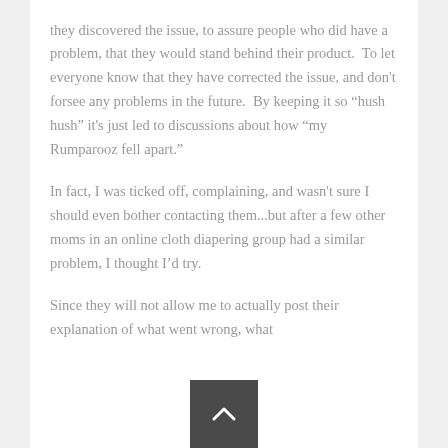they discovered the issue, to assure people who did have a problem, that they would stand behind their product.  To let everyone know that they have corrected the issue, and don't forsee any problems in the future.  By keeping it so “hush hush” it's just led to discussions about how “my Rumparooz fell apart.”
In fact, I was ticked off, complaining, and wasn't sure I should even bother contacting them...but after a few other moms in an online cloth diapering group had a similar problem, I thought I’d try.
Since they will not allow me to actually post their explanation of what went wrong, what